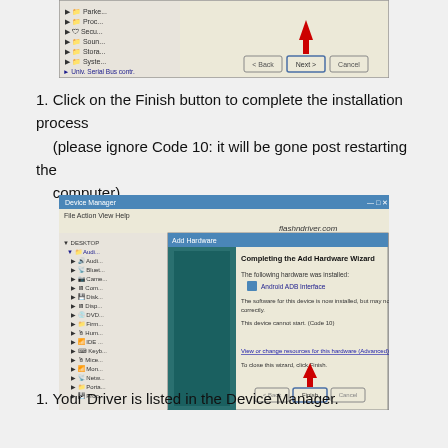[Figure (screenshot): Windows Device Manager with a wizard dialog showing Next button highlighted with a red arrow, and Universal Serial Bus controllers visible in tree]
Click on the Finish button to complete the installation process (please ignore Code 10: it will be gone post restarting the computer).
[Figure (screenshot): Windows Device Manager showing 'Completing the Add Hardware Wizard' dialog with Android ADB Interface installed, Code 10 error message, and Finish button highlighted with red arrow. Watermark reads flashndriver.com]
Your Driver is listed in the Device Manager.